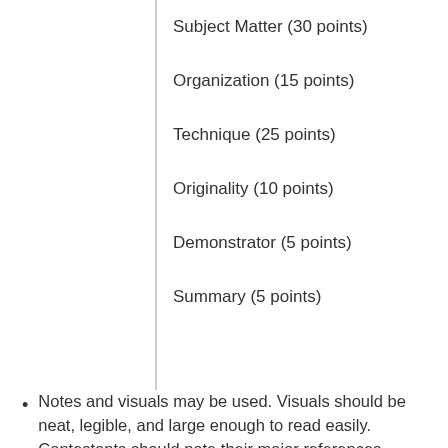Subject Matter (30 points)
Organization (15 points)
Technique (25 points)
Originality (10 points)
Demonstrator (5 points)
Summary (5 points)
Notes and visuals may be used. Visuals should be neat, legible, and large enough to read easily. Contestants should note their major references.
Presentation Ideas:
Suggested Topics or Ideas for Horse Demonstrations